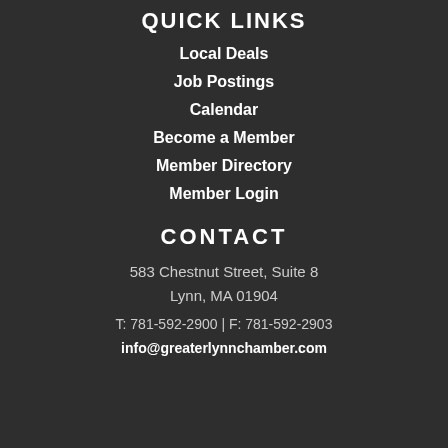QUICK LINKS
Local Deals
Job Postings
Calendar
Become a Member
Member Directory
Member Login
CONTACT
583 Chestnut Street, Suite 8
Lynn, MA 01904
T: 781-592-2900 | F: 781-592-2903
info@greaterlynnchamber.com